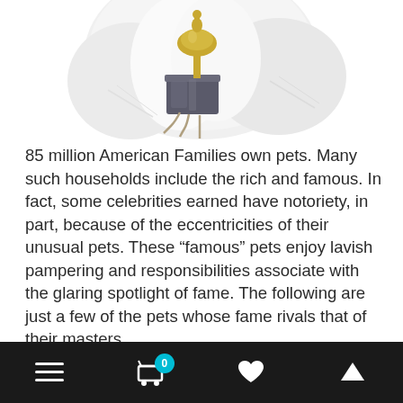[Figure (photo): Partial view of a white bird (likely a cockatoo or parrot) holding a trophy/award, photographed from below against a white background. Only the lower body, wings, and trophy are visible.]
85 million American Families own pets. Many such households include the rich and famous. In fact, some celebrities earned have notoriety, in part, because of the eccentricities of their unusual pets. These “famous” pets enjoy lavish pampering and responsibilities associate with the glaring spotlight of fame. The following are just a few of the pets whose fame rivals that of their masters.
Navigation bar with menu, cart (0), heart, and up-arrow icons